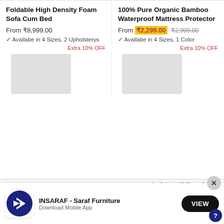Foldable High Density Foam Sofa Cum Bed
From ₹8,999.00
✓ Availabe in 4 Sizes, 2 Upholsterys
Extra 10% OFF
[Figure (other): Product image placeholder (blurred/grey)]
100% Pure Organic Bamboo Waterproof Mattress Protector
From ₹2,299.00 ₹2,999.00
✓ Availabe in 4 Sizes, 1 Color
Extra 10% OFF
[Figure (other): Product image placeholder (blurred/grey)]
400 TC Cotton Striped
Terry Cotton Fabric
✓ Availabe in 12 Sizes, 3 Colors
[Figure (logo): INSARAF - Saraf Furniture app icon, dark blue circle with white arrow]
INSARAF - Saraf Furniture
Download Mobile App
VIEW